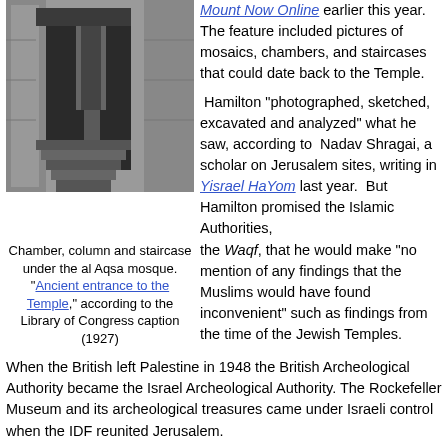[Figure (photo): Black and white photograph of a chamber, column and staircase under the al Aqsa mosque, showing stone architecture with steps and pillars.]
Mount Now Online earlier this year. The feature included pictures of mosaics, chambers, and staircases that could date back to the Temple.
Hamilton "photographed, sketched, excavated and analyzed" what he saw, according to Nadav Shragai, a scholar on Jerusalem sites, writing in Yisrael HaYom last year. But Hamilton promised the Islamic Authorities, the Waqf, that he would make "no mention of any findings that the Muslims would have found inconvenient" such as findings from the time of the Jewish Temples.
Chamber, column and staircase under the al Aqsa mosque. "Ancient entrance to the Temple," according to the Library of Congress caption (1927)
When the British left Palestine in 1948 the British Archeological Authority became the Israel Archeological Authority. The Rockefeller Museum and its archeological treasures came under Israeli control when the IDF reunited Jerusalem.
Could these pictures from the Israel Archeological Authority show the beams of the Jewish Temples?